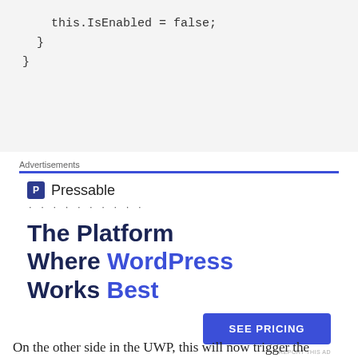this.IsEnabled = false;
  }
}
Advertisements
[Figure (infographic): Pressable advertisement: logo with 'P' icon and 'Pressable' text, dotted line, bold headline 'The Platform Where WordPress Works Best', blue 'SEE PRICING' button, 'REPORT THIS AD' small text]
On the other side in the UWP, this will now trigger the